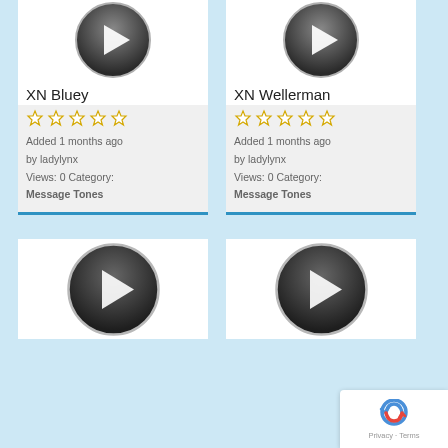[Figure (screenshot): Play button icon for XN Bluey audio item]
XN Bluey
☆☆☆☆☆
Added 1 months ago
by ladylynx
Views: 0 Category:
Message Tones
[Figure (screenshot): Play button icon for XN Wellerman audio item]
XN Wellerman
☆☆☆☆☆
Added 1 months ago
by ladylynx
Views: 0 Category:
Message Tones
[Figure (screenshot): Play button icon for third audio item (partial)]
[Figure (screenshot): Play button icon for fourth audio item (partial)]
[Figure (logo): reCAPTCHA badge with Privacy and Terms links]